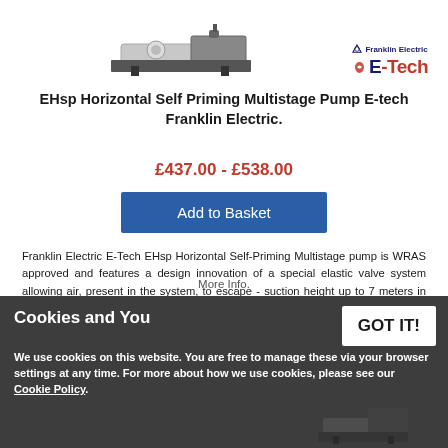[Figure (photo): EHsp Horizontal Self Priming Multistage Pump by E-Tech Franklin Electric, showing the pump unit and brand logos (Franklin Electric and E-Tech)]
EHsp Horizontal Self Priming Multistage Pump E-tech Franklin Electric.
£437.00  -  £538.00
Add to Basket
Franklin Electric E-Tech EHsp Horizontal Self-Priming Multistage pump is WRAS approved and features a design innovation of a special elastic valve system allowing air, present in the system, to escape - suction height up to 7 meters in less than 5 minutes.
More Info.
Cookies and You
We use cookies on this website. You are free to manage these via your browser settings at any time. For more about how we use cookies, please see our Cookie Policy.
GOT IT!